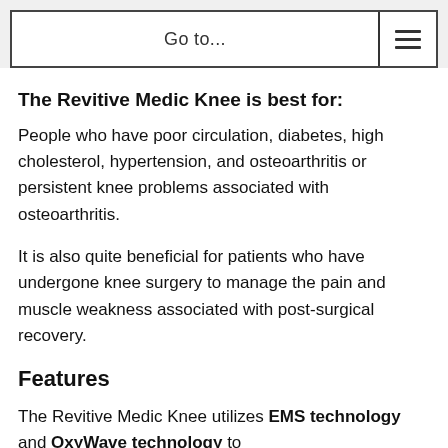Go to...
The Revitive Medic Knee is best for:
People who have poor circulation, diabetes, high cholesterol, hypertension, and osteoarthritis or persistent knee problems associated with osteoarthritis.
It is also quite beneficial for patients who have undergone knee surgery to manage the pain and muscle weakness associated with post-surgical recovery.
Features
The Revitive Medic Knee utilizes EMS technology and OxyWave technology to